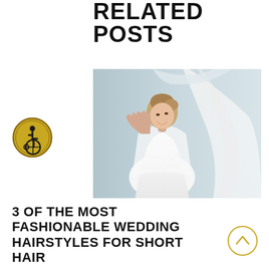RELATED POSTS
[Figure (photo): A smiling bride in a white lace dress and veil, posing with fabric flowing around her]
[Figure (illustration): Circular gold accessibility icon with wheelchair user symbol]
3 OF THE MOST FASHIONABLE WEDDING HAIRSTYLES FOR SHORT HAIR
[Figure (illustration): Circular gold scroll-up/chevron up button]